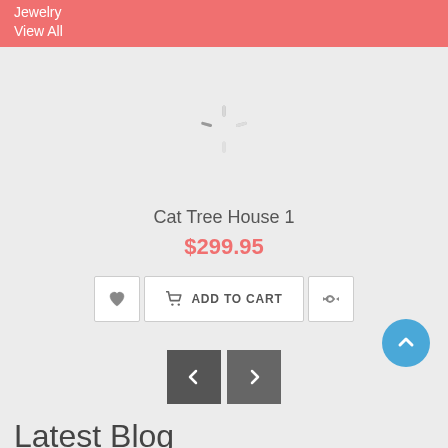Jewelry
View All
[Figure (other): Loading spinner / activity indicator icon — a gray radial burst/starburst shape indicating content is loading]
Cat Tree House 1
$299.95
ADD TO CART
[Figure (other): Scroll-to-top button — a blue circle with a white upward arrow]
[Figure (other): Left/right navigation arrow buttons (previous/next carousel controls)]
Latest Blog